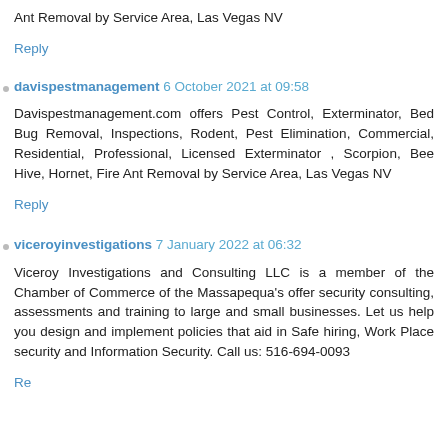Ant Removal by Service Area, Las Vegas NV
Reply
davispestmanagement 6 October 2021 at 09:58
Davispestmanagement.com offers Pest Control, Exterminator, Bed Bug Removal, Inspections, Rodent, Pest Elimination, Commercial, Residential, Professional, Licensed Exterminator , Scorpion, Bee Hive, Hornet, Fire Ant Removal by Service Area, Las Vegas NV
Reply
viceroyinvestigations 7 January 2022 at 06:32
Viceroy Investigations and Consulting LLC is a member of the Chamber of Commerce of the Massapequa's offer security consulting, assessments and training to large and small businesses. Let us help you design and implement policies that aid in Safe hiring, Work Place security and Information Security. Call us: 516-694-0093
Reply